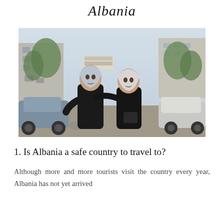Albania
[Figure (photo): Two elderly Albanian women wearing dark clothing and white headscarves, standing together and smiling outdoors in a street with cars and buildings in the background.]
1. Is Albania a safe country to travel to?
Although more and more tourists visit the country every year, Albania has not yet arrived